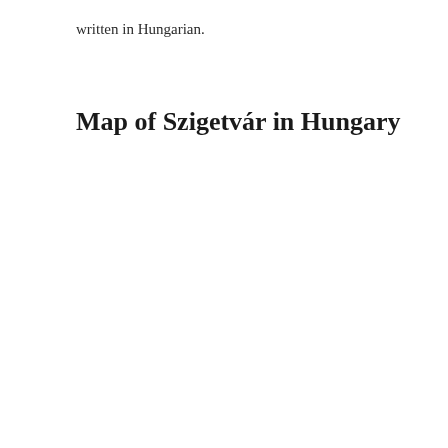written in Hungarian.
Map of Szigetvár in Hungary